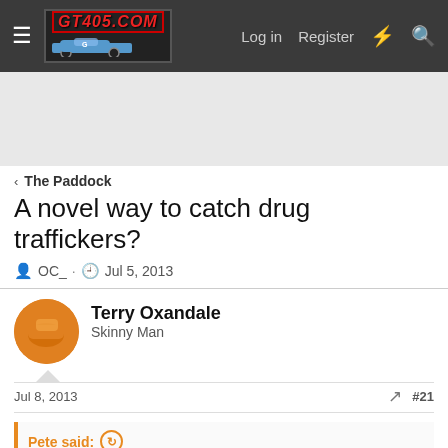GT405.COM | Log in | Register
[Figure (screenshot): GT405.COM forum logo with race car]
The Paddock
A novel way to catch drug traffickers?
OC_ · Jul 5, 2013
Terry Oxandale
Skinny Man
Jul 8, 2013
#21
Pete said:
My comment earlier was with tongue firmly planted in cheek, so here is my serious comment.
We in Oz are bombarded with legislation, designed to "protect"us.
Each new legislation/ law takes away another small freedom. It may